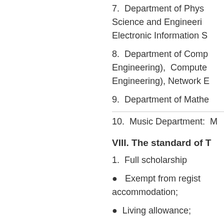7. Department of Physical Science and Engineering, Electronic Information S…
8. Department of Computer Engineering), Computer Engineering), Network E…
9. Department of Mathematics…
10. Music Department: M…
VIII. The standard of T…
1. Full scholarship
● Exempt from registration… accommodation;
● Living allowance;
● Provide the placement…
● Provide outpatient me…
● One time off inter-sit…